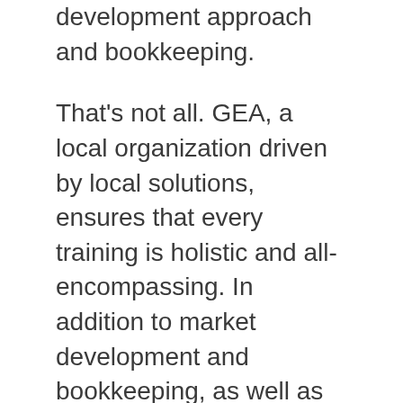development approach and bookkeeping.
That's not all. GEA, a local organization driven by local solutions, ensures that every training is holistic and all-encompassing. In addition to market development and bookkeeping, as well as basics in diversifying crop types, Buzunesh also learned to incorporate modern drip irrigation systems and solar energy into her farm. Her farm has expanded to include tomatoes, kale, round head cabbage, onions, peppers and carrots. With a growing family, she